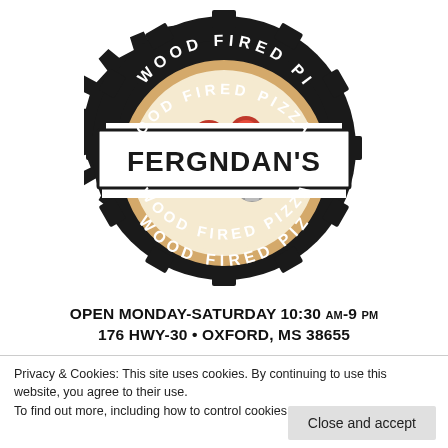[Figure (logo): Fergndan's Wood Fired Pizza logo: a gear/cog shape in black with a pizza illustration in the center showing pepperoni and mushrooms on a cream background, with a banner across the middle reading FERGNDAN'S, and curved text reading WOOD FIRED PIZZA on top and WOOD FIRED PIZZA on bottom]
OPEN MONDAY-SATURDAY 10:30 AM-9 PM
176 HWY-30 • OXFORD, MS 38655
Privacy & Cookies: This site uses cookies. By continuing to use this website, you agree to their use.
To find out more, including how to control cookies, see here: Cookie Policy
Close and accept